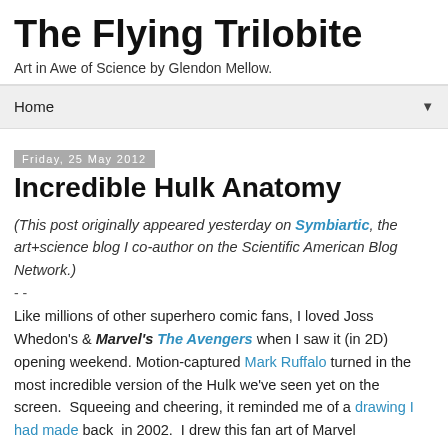The Flying Trilobite
Art in Awe of Science by Glendon Mellow.
Home ▼
Friday, 25 May 2012
Incredible Hulk Anatomy
(This post originally appeared yesterday on Symbiartic, the art+science blog I co-author on the Scientific American Blog Network.)
- -
Like millions of other superhero comic fans, I loved Joss Whedon's & Marvel's The Avengers when I saw it (in 2D) opening weekend. Motion-captured Mark Ruffalo turned in the most incredible version of the Hulk we've seen yet on the screen.  Squeeing and cheering, it reminded me of a drawing I had made back  in 2002.  I drew this fan art of Marvel